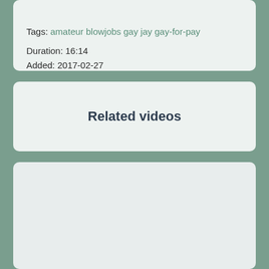Tags: amateur blowjobs gay jay gay-for-pay
Duration: 16:14
Added: 2017-02-27
Related videos
[Figure (other): Empty light-colored panel representing a related videos content area]